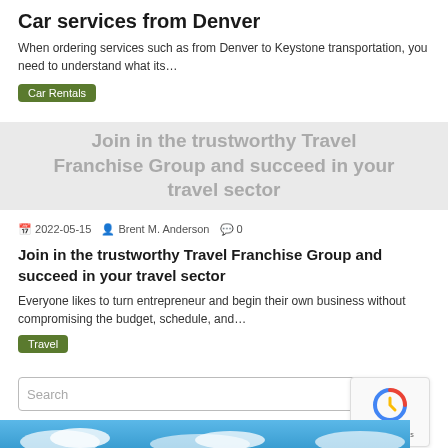Car services from Denver
When ordering services such as from Denver to Keystone transportation, you need to understand what its…
Car Rentals
[Figure (other): Gray banner with text: Join in the trustworthy Travel Franchise Group and succeed in your travel sector]
📅 2022-05-15   👤 Brent M. Anderson   💬 0
Join in the trustworthy Travel Franchise Group and succeed in your travel sector
Everyone likes to turn entrepreneur and begin their own business without compromising the budget, schedule, and…
Travel
[Figure (other): Search input box with magnifying glass icon, and reCAPTCHA widget to the right showing Privacy and Terms text]
[Figure (photo): Blue sky with clouds banner at the bottom of the page]